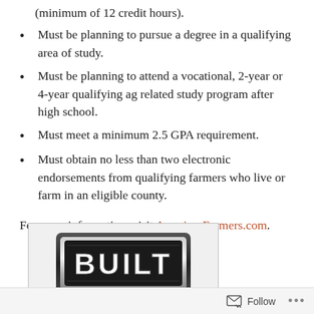(minimum of 12 credit hours).
Must be planning to pursue a degree in a qualifying area of study.
Must be planning to attend a vocational, 2-year or 4-year qualifying ag related study program after high school.
Must meet a minimum 2.5 GPA requirement.
Must obtain no less than two electronic endorsements from qualifying farmers who live or farm in an eligible county.
For more information, visit AmericasFarmers.com.
[Figure (logo): BUILT badge/logo in metallic style with bold white letters on dark embossed badge]
Follow ...